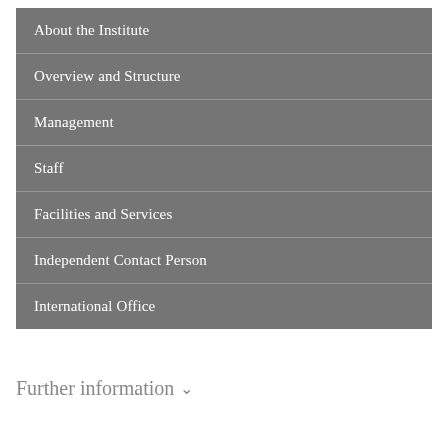About the Institute
Overview and Structure
Management
Staff
Facilities and Services
Independent Contact Person
International Office
Further information ∨